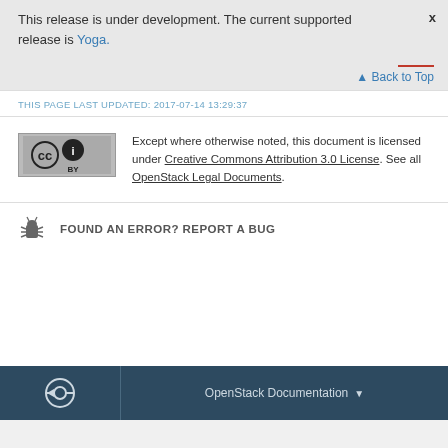This release is under development. The current supported release is Yoga.
Back to Top
THIS PAGE LAST UPDATED: 2017-07-14 13:29:37
Except where otherwise noted, this document is licensed under Creative Commons Attribution 3.0 License. See all OpenStack Legal Documents.
FOUND AN ERROR? REPORT A BUG
OpenStack Documentation